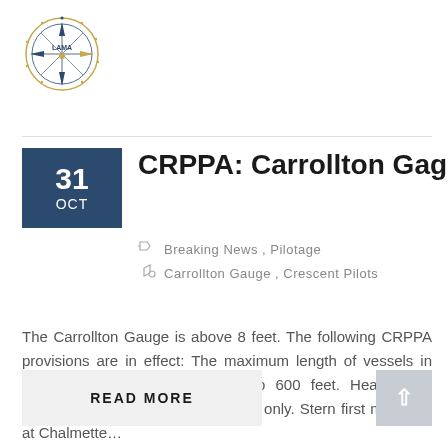[Figure (logo): LAMA organization circular logo with compass/star design]
CRPPA: Carrollton Gage Above 8 Feet
Breaking News, Pilotage
Carrollton Gauge, Crescent Pilots
The Carrollton Gauge is above 8 feet. The following CRPPA provisions are in effect: The maximum length of vessels in General Anchorage are limited to 600 feet. Head down moorings are conducted in daylight only. Stern first moorings at Chalmette…
READ MORE